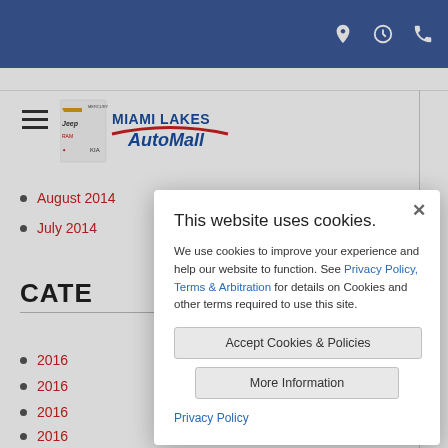Miami Lakes AutoMall website header with location, hours, and phone icons
[Figure (logo): Miami Lakes AutoMall logo with Chevrolet, Jeep, Ram, Mitsubishi, Mercury, Kia brand logos]
August 2014
July 2014
CATEGORIES
2016
2016
2016
2016
This website uses cookies. We use cookies to improve your experience and help our website to function. See Privacy Policy, Terms & Arbitration for details on Cookies and other terms required to use this site.
Accept Cookies & Policies
More Information
Privacy Policy